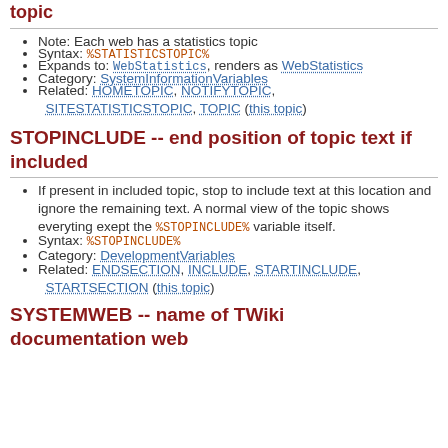topic
Note: Each web has a statistics topic
Syntax: %STATISTICSTOPIC%
Expands to: WebStatistics, renders as WebStatistics
Category: SystemInformationVariables
Related: HOMETOPIC, NOTIFYTOPIC, SITESTATISTICSTOPIC, TOPIC (this topic)
STOPINCLUDE -- end position of topic text if included
If present in included topic, stop to include text at this location and ignore the remaining text. A normal view of the topic shows everyting exept the %STOPINCLUDE% variable itself.
Syntax: %STOPINCLUDE%
Category: DevelopmentVariables
Related: ENDSECTION, INCLUDE, STARTINCLUDE, STARTSECTION (this topic)
SYSTEMWEB -- name of TWiki documentation web